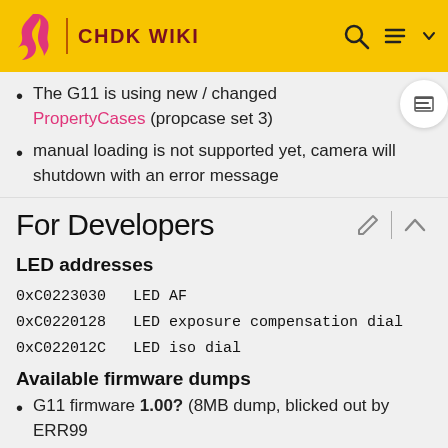CHDK WIKI
The G11 is using new / changed PropertyCases (propcase set 3)
manual loading is not supported yet, camera will shutdown with an error message
For Developers
LED addresses
0xC0223030   LED AF
0xC0220128   LED exposure compensation dial
0xC022012C   LED iso dial
Available firmware dumps
G11 firmware 1.00? (8MB dump, blicked out by ERR99